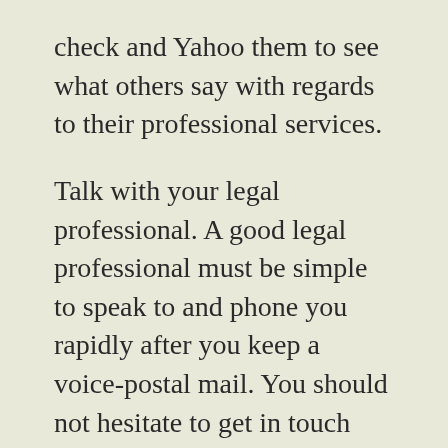check and Yahoo them to see what others say with regards to their professional services. Talk with your legal professional. A good legal professional must be simple to speak to and phone you rapidly after you keep a voice-postal mail. You should not hesitate to get in touch with your lawyer to request some updates or plan typical sessions which means your legal professional can provide you with more info on which they are concentrating on. When you are evaluating the ideal attorney, your selection needs to be individual who focuses on your unique case. Legal professionals specialize in all kinds of legitimate concerns from property legislation to criminal safeguard and everything else somewhere between. Find what the niche is ahead of time and you can avoid calling those who usually are not relevant. Discover the friendliness of people who work for your